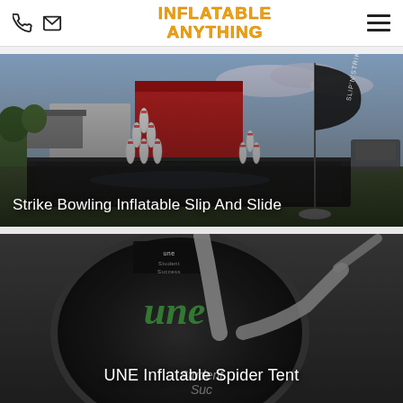INFLATABLE ANYTHING
[Figure (photo): Outdoor inflatable bowling slip-and-slide setup with white bowling pins on a wet black mat, a 'Slip N Strike' branded feather flag banner, red and white building in background, cloudy sky.]
Strike Bowling Inflatable Slip And Slide
[Figure (photo): UNE inflatable spider tent, dark circular inflatable with green UNE logo branding, white spider tent structure visible, 'Student Success' text partially visible at bottom.]
UNE Inflatable Spider Tent